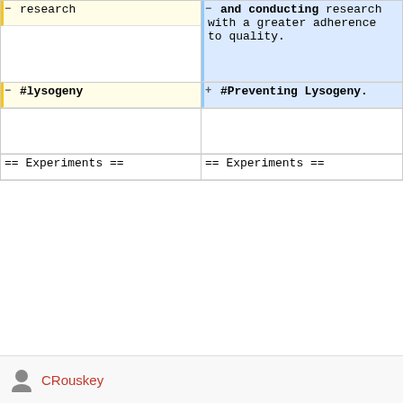[Figure (screenshot): Diff view of a wiki article edit. Left column shows removed content (yellow background): partial text 'research' and heading '#lysogeny'. Right column shows added content (blue background): bold text 'and conducting research with a greater adherence to quality.' and bold heading '#Preventing Lysogeny.' Both columns end with neutral '== Experiments ==']
CRouskey